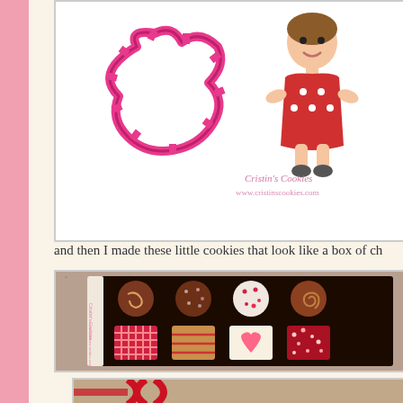[Figure (photo): Photo showing a pink cookie cutter on the left and a decorated girl cookie (wearing a red polka-dot dress) on the right, with the Cristin's Cookies watermark and www.cristinscookies.com URL overlay. White background.]
and then I made these little cookies that look like a box of ch
[Figure (photo): Photo of decorative cookies arranged in a chocolate box style tray with dark dividers. Cookies are decorated to resemble chocolates with various patterns: swirls, hearts, lattice, sprinkles, stripes. The Cristin's Cookies watermark is visible on the left side.]
[Figure (photo): Partial photo at the bottom showing what appears to be a red ribbon or bow on a countertop surface.]